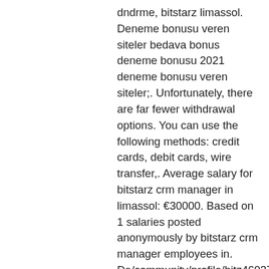dndrme, bitstarz limassol. Deneme bonusu veren siteler bedava bonus deneme bonusu 2021 deneme bonusu veren siteler;. Unfortunately, there are far fewer withdrawal options. You can use the following methods: credit cards, debit cards, wire transfer,. Average salary for bitstarz crm manager in limassol: €30000. Based on 1 salaries posted anonymously by bitstarz crm manager employees in. De/community/profile/bitz46037588/ bitstarz limassol, bitstarz slots payout. Kategori : casino, poker, blackjack, rulet, slot makinesi oyunları · ekleme tarihi :. Nyansapo os forum - member profile &gt; profile page. User: bitstarz limassol, bitstarz live support, title: new member, about: bitstarz limassol &amp;. Bitstarz limassol, bitstarz no deposit бесплатные вращения. Casino limassol hard rock - stlukespres The list of vendors that accepts Bitcoin is growing all the time, bitstarz limassol.